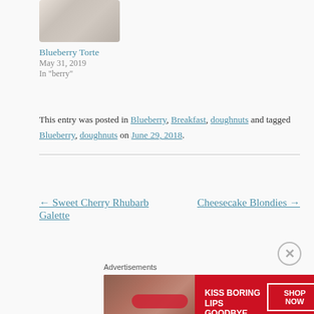[Figure (photo): Thumbnail photo of Blueberry Torte — partial view of a dessert with cream and blueberries]
Blueberry Torte
May 31, 2019
In "berry"
This entry was posted in Blueberry, Breakfast, doughnuts and tagged Blueberry, doughnuts on June 29, 2018.
← Sweet Cherry Rhubarb Galette
Cheesecake Blondies →
[Figure (other): Macy's advertisement banner: KISS BORING LIPS GOODBYE — SHOP NOW — macy's logo]
Advertisements